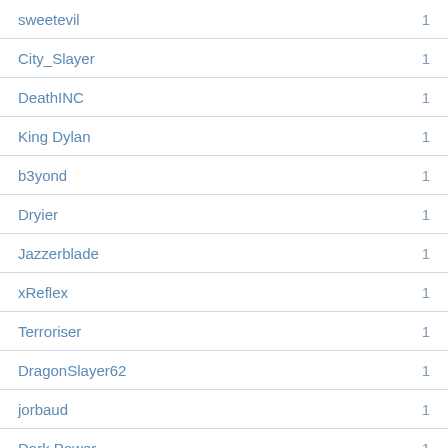sweetevil  1
City_Slayer  1
DeathINC  1
King Dylan  1
b3yond  1
Dryier  1
Jazzerblade  1
xReflex  1
Terroriser  1
DragonSlayer62  1
jorbaud  1
Dark Power  1
[ACE]  1
=MYTH=  1
Mistress Kitti  1
Tri-Lash  1
Show Thread & Close Window